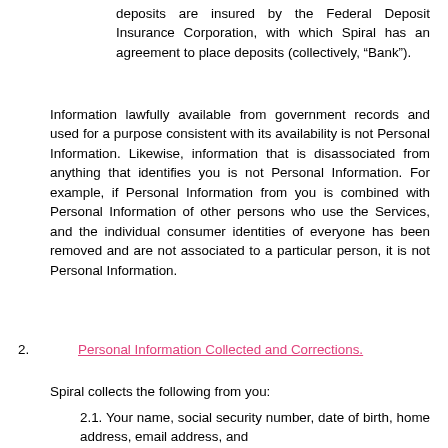deposits are insured by the Federal Deposit Insurance Corporation, with which Spiral has an agreement to place deposits (collectively, “Bank”).
Information lawfully available from government records and used for a purpose consistent with its availability is not Personal Information. Likewise, information that is disassociated from anything that identifies you is not Personal Information. For example, if Personal Information from you is combined with Personal Information of other persons who use the Services, and the individual consumer identities of everyone has been removed and are not associated to a particular person, it is not Personal Information.
2. Personal Information Collected and Corrections. Spiral collects the following from you:
2.1. Your name, social security number, date of birth, home address, email address, and